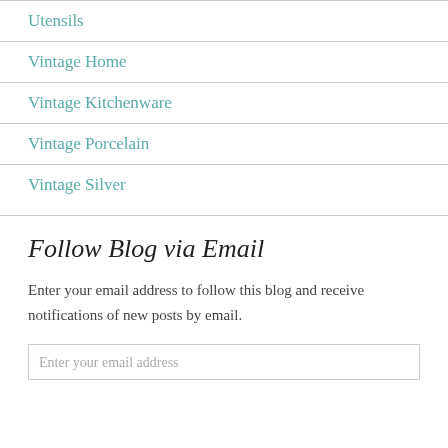Utensils
Vintage Home
Vintage Kitchenware
Vintage Porcelain
Vintage Silver
Follow Blog via Email
Enter your email address to follow this blog and receive notifications of new posts by email.
Enter your email address